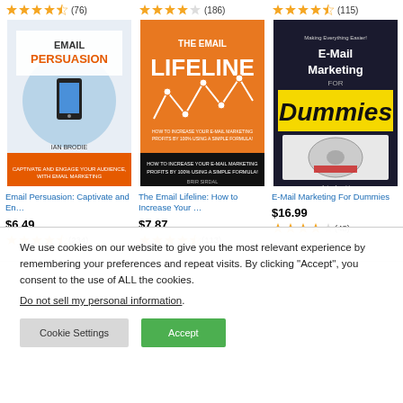[Figure (screenshot): Three book product listings with star ratings, cover images, titles, and prices. Book 1: Email Persuasion by Ian Brodie, 4.5 stars (76 reviews), $6.49, 4.5 stars (234). Book 2: The Email Lifeline: How to Increase Your …, 4 stars (186 reviews), $7.87, 4.5 stars (113). Book 3: E-Mail Marketing For Dummies, 4.5 stars (115 reviews), $16.99, 4 stars (48).]
We use cookies on our website to give you the most relevant experience by remembering your preferences and repeat visits. By clicking “Accept”, you consent to the use of ALL the cookies.
Do not sell my personal information.
Cookie Settings
Accept